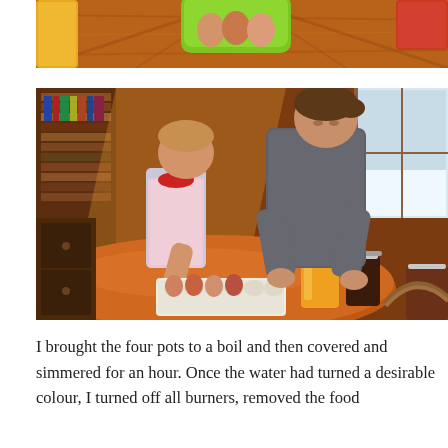[Figure (photo): Top portion of a photo showing a wooden table surface with a yellow container on the left and a lime green bowl/basket in the center containing eggs, with a red/orange object partially visible at the top right.]
[Figure (photo): A child wearing a colorful apron and an adult in a grey sweater leaning over a round wooden table, working with eggs in an egg carton and several mason jars filled with liquid (orange and dark colored). Bookshelves visible in the background, snowy window on the right.]
I brought the four pots to a boil and then covered and simmered for an hour. Once the water had turned a desirable colour, I turned off all burners, removed the food